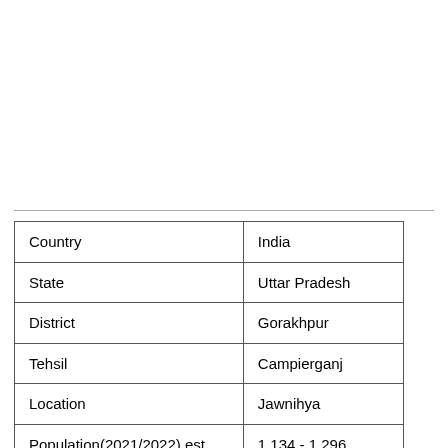|  |  |
| --- | --- |
| Country | India |
| State | Uttar Pradesh |
| District | Gorakhpur |
| Tehsil | Campierganj |
| Location | Jawnihya |
| Population(2021/2022) est. | 1,134 - 1,296 |